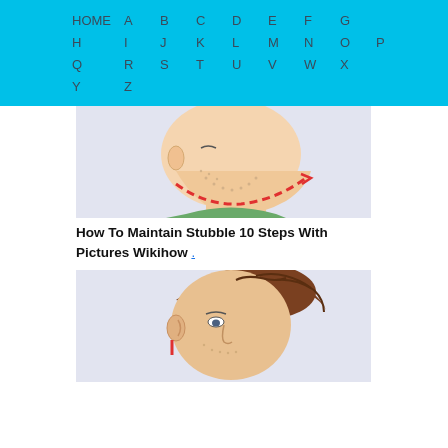HOME A B C D E F G H I J K L M N O P Q R S T U V W X Y Z
[Figure (illustration): Side profile illustration of a man with stubble beard and a red dashed line along the neckline showing where to shave, wearing a green shirt]
How To Maintain Stubble 10 Steps With Pictures Wikihow .
[Figure (illustration): Side profile illustration of a man with brown hair and stubble, with a red line near the ear/sideburn area indicating trimming guidance]